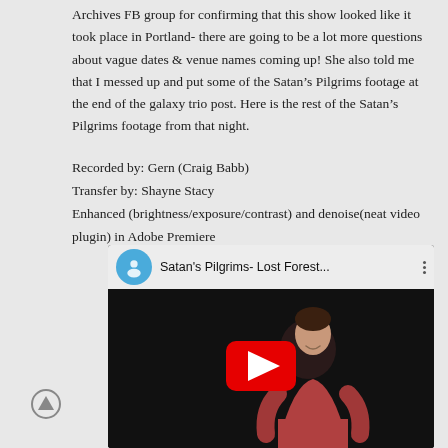Archives FB group for confirming that this show looked like it took place in Portland- there are going to be a lot more questions about vague dates & venue names coming up! She also told me that I messed up and put some of the Satan’s Pilgrims footage at the end of the galaxy trio post. Here is the rest of the Satan’s Pilgrims footage from that night.
Recorded by: Gern (Craig Babb)
Transfer by: Shayne Stacy
Enhanced (brightness/exposure/contrast) and denoise(neat video plugin) in Adobe Premiere
[Figure (screenshot): YouTube video thumbnail showing Satan's Pilgrims- Lost Forest... with a person in a red shirt visible in the dark background and a red YouTube play button in the center.]